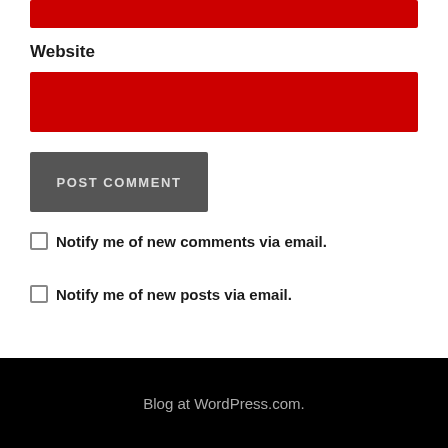[Figure (screenshot): Red input field bar at the top (partially cut off)]
Website
[Figure (screenshot): Red input field for Website URL]
POST COMMENT
Notify me of new comments via email.
Notify me of new posts via email.
Blog at WordPress.com.